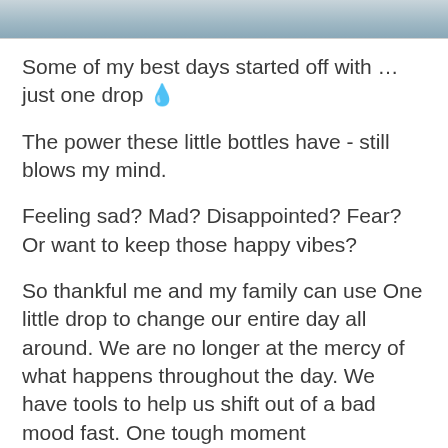[Figure (photo): Partial photo of a person, cropped at the top of the page]
Some of my best days started off with … just one drop 🌿
The power these little bottles have - still blows my mind.
Feeling sad? Mad? Disappointed? Fear? Or want to keep those happy vibes?
So thankful me and my family can use One little drop to change our entire day all around. We are no longer at the mercy of what happens throughout the day. We have tools to help us shift out of a bad mood fast. One tough moment